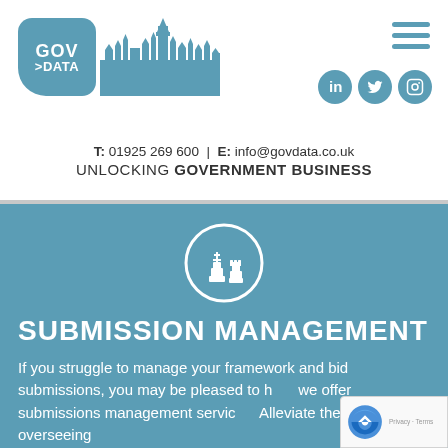[Figure (logo): GovData logo with parliament silhouette, hamburger menu, and LinkedIn/Twitter/Instagram social icons]
T: 01925 269 600 | E: info@govdata.co.uk
UNLOCKING GOVERNMENT BUSINESS
[Figure (illustration): Chess pieces icon inside a white circle on steel-blue background]
SUBMISSION MANAGEMENT
If you struggle to manage your framework and bid submissions, you may be pleased to hear we offer submissions management services. Alleviate the pressure of overseeing procurement tender opportunities by using our